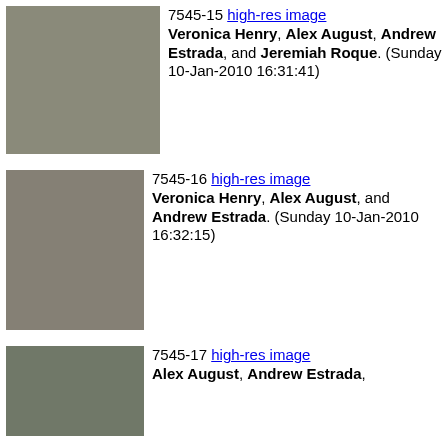[Figure (photo): Group photo of four people seated: Veronica Henry, Alex August, Andrew Estrada, and Jeremiah Roque at a convention panel, Sunday 10-Jan-2010]
7545-15 high-res image Veronica Henry, Alex August, Andrew Estrada, and Jeremiah Roque. (Sunday 10-Jan-2010 16:31:41)
[Figure (photo): Group photo of three people: Veronica Henry, Alex August, and Andrew Estrada at a convention, Sunday 10-Jan-2010]
7545-16 high-res image Veronica Henry, Alex August, and Andrew Estrada. (Sunday 10-Jan-2010 16:32:15)
[Figure (photo): Group photo including Alex August, Andrew Estrada, and others, Sunday 10-Jan-2010]
7545-17 high-res image Alex August, Andrew Estrada...